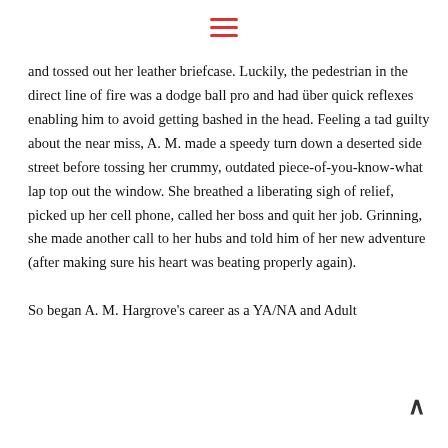≡
and tossed out her leather briefcase. Luckily, the pedestrian in the direct line of fire was a dodge ball pro and had über quick reflexes enabling him to avoid getting bashed in the head. Feeling a tad guilty about the near miss, A. M. made a speedy turn down a deserted side street before tossing her crummy, outdated piece-of-you-know-what lap top out the window. She breathed a liberating sigh of relief, picked up her cell phone, called her boss and quit her job. Grinning, she made another call to her hubs and told him of her new adventure (after making sure his heart was beating properly again).

So began A. M. Hargrove's career as a YA/NA and Adult